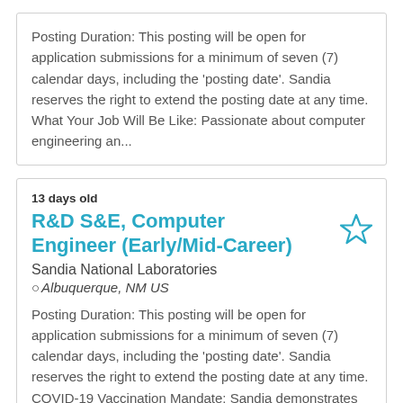Posting Duration: This posting will be open for application submissions for a minimum of seven (7) calendar days, including the 'posting date'. Sandia reserves the right to extend the posting date at any time. What Your Job Will Be Like: Passionate about computer engineering an...
13 days old
R&D S&E, Computer Engineer (Early/Mid-Career)
Sandia National Laboratories
Albuquerque, NM US
Posting Duration: This posting will be open for application submissions for a minimum of seven (7) calendar days, including the 'posting date'. Sandia reserves the right to extend the posting date at any time. COVID-19 Vaccination Mandate: Sandia demonstrates its commitment to ...
13 days old